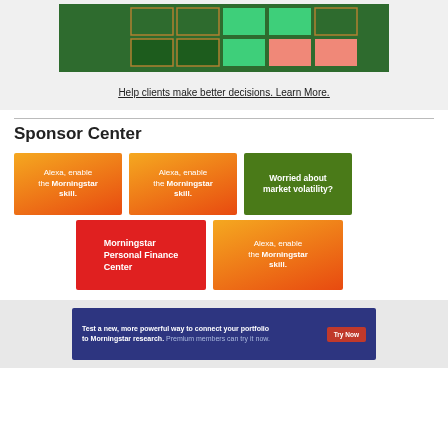[Figure (other): Morningstar style box grid showing a green grid with teal and salmon colored cells]
Help clients make better decisions. Learn More.
Sponsor Center
[Figure (other): Orange gradient sponsor tile: Alexa, enable the Morningstar skill.]
[Figure (other): Orange gradient sponsor tile: Alexa, enable the Morningstar skill.]
[Figure (other): Green sponsor tile: Worried about market volatility?]
[Figure (other): Red sponsor tile: Morningstar Personal Finance Center]
[Figure (other): Orange gradient sponsor tile: Alexa, enable the Morningstar skill.]
[Figure (other): Dark blue banner: Test a new, more powerful way to connect your portfolio to Morningstar research. Premium members can try it now. Try Now button.]